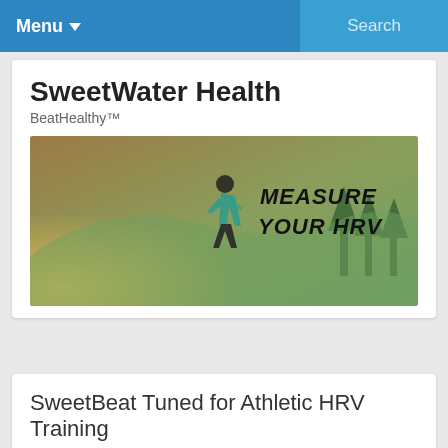Menu  Search
SweetWater Health
BeatHealthly™
[Figure (photo): A runner in a teal jacket running up a mountain trail with text overlay reading 'Measure Your HRV']
SweetBeat Tuned for Athletic HRV Training